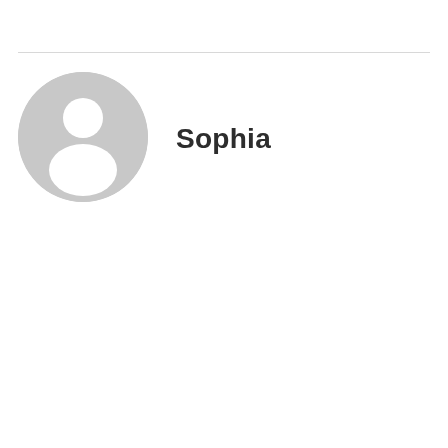[Figure (illustration): Generic user avatar icon — grey circle with a silhouette of a person (head and shoulders), representing a default profile picture placeholder.]
Sophia